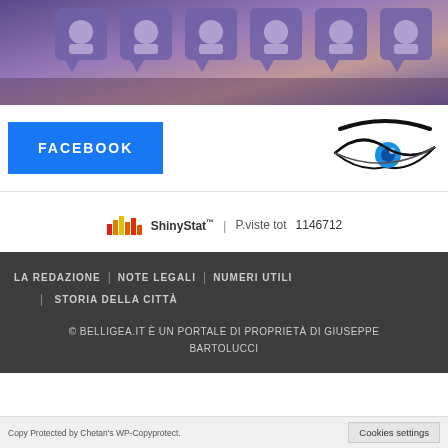[Figure (illustration): Hero image showing Facebook-like speech bubble icons with silhouette figures on a purple/mauve gradient background]
[Figure (logo): Facebook button (blue rectangle with FACEBOOK text) and an eye logo illustration on the right]
[Figure (infographic): ShinyStat logo with bar chart icons, trademark symbol, P.viste tot label and counter 1146712]
LA REDAZIONE | NOTE LEGALI | NUMERI UTILI | STORIA DELLA CITTÀ
© BELLIGEA.IT È UN PORTALE DI PROPRIETÀ DI GIUSEPPE BARTOLUCCI
Copy Protected by Chetan's WP-Copyprotect.    Cookies settings